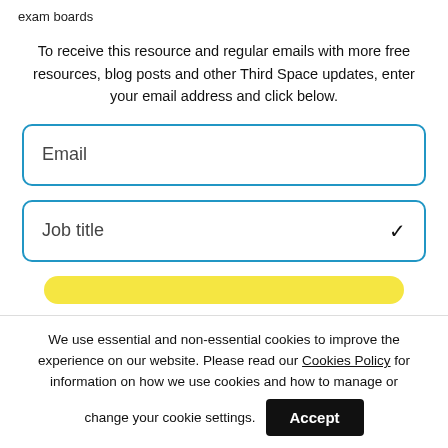exam boards
To receive this resource and regular emails with more free resources, blog posts and other Third Space updates, enter your email address and click below.
Email
Job title
We use essential and non-essential cookies to improve the experience on our website. Please read our Cookies Policy for information on how we use cookies and how to manage or change your cookie settings.
Accept